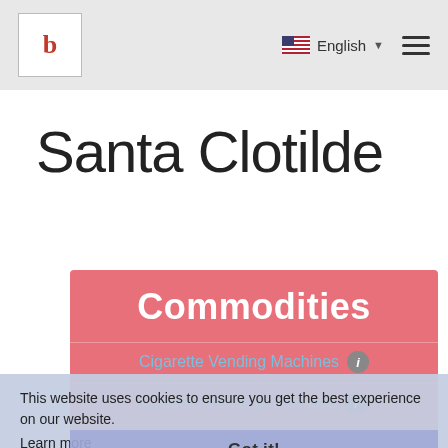b | English ▼ ☰
Santa Clotilde
Commodities
Cigarette Vending Machines ℹ
Condom Vending Machines ℹ
Drink Vending Machines ℹ
Food Vending Machines ℹ
Newspaper Vending Machines ℹ
This website uses cookies to ensure you get the best experience on our website.
Learn more
Got it!